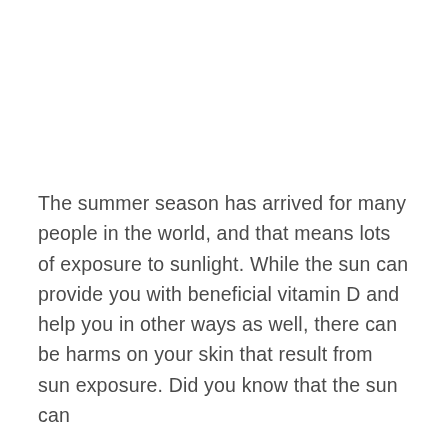The summer season has arrived for many people in the world, and that means lots of exposure to sunlight. While the sun can provide you with beneficial vitamin D and help you in other ways as well, there can be harms on your skin that result from sun exposure. Did you know that the sun can